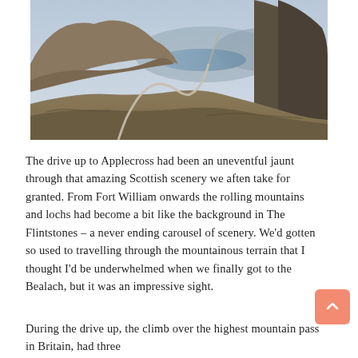[Figure (photo): A winding mountain road through a dramatic Scottish highland pass with steep rocky hills on either side, a loch visible in the distance under an overcast sky.]
The drive up to Applecross had been an uneventful jaunt through that amazing Scottish scenery we aften take for granted. From Fort William onwards the rolling mountains and lochs had become a bit like the background in The Flintstones – a never ending carousel of scenery. We'd gotten so used to travelling through the mountainous terrain that I thought I'd be underwhelmed when we finally got to the Bealach, but it was an impressive sight.
During the drive up, the climb over the highest mountain pass in Britain, had three